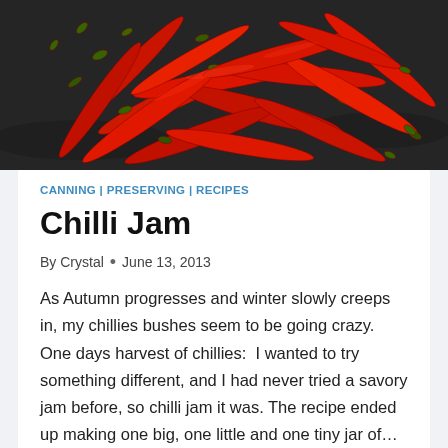[Figure (photo): Overhead photo of a large pile of red chilli peppers with green stems on a dark stone surface]
CANNING | PRESERVING | RECIPES
Chilli Jam
By Crystal • June 13, 2013
As Autumn progresses and winter slowly creeps in, my chillies bushes seem to be going crazy. One days harvest of chillies:  I wanted to try something different, and I had never tried a savory jam before, so chilli jam it was. The recipe ended up making one big, one little and one tiny jar of…